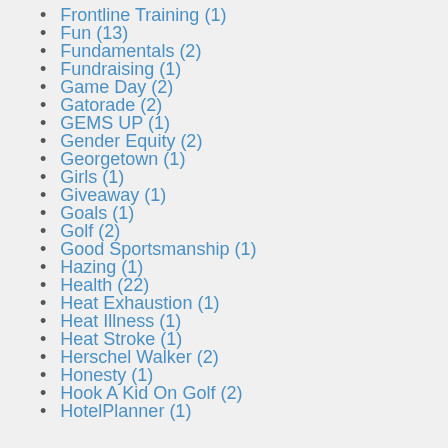Frontline Training (1)
Fun (13)
Fundamentals (2)
Fundraising (1)
Game Day (2)
Gatorade (2)
GEMS UP (1)
Gender Equity (2)
Georgetown (1)
Girls (1)
Giveaway (1)
Goals (1)
Golf (2)
Good Sportsmanship (1)
Hazing (1)
Health (22)
Heat Exhaustion (1)
Heat Illness (1)
Heat Stroke (1)
Herschel Walker (2)
Honesty (1)
Hook A Kid On Golf (2)
HotelPlanner (1)